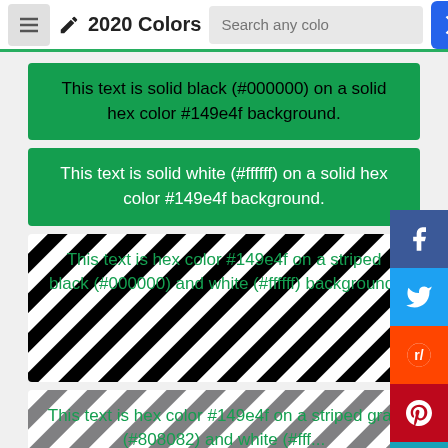2020 Colors
This text is solid black (#000000) on a solid hex color #149e4f background.
This text is solid white (#ffffff) on a solid hex color #149e4f background.
This text is hex color #149e4f on a striped black (#000000) and white (#ffffff) background.
This text is hex color #149e4f on a striped gray (#808082) and white (#fff...